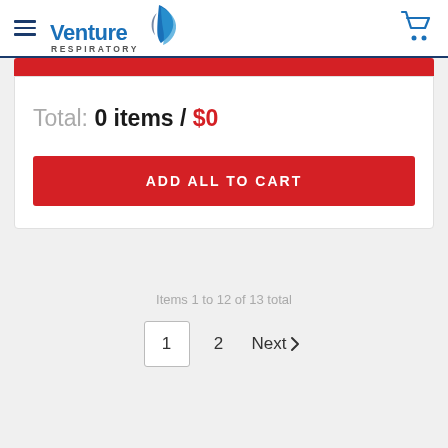Venture Respiratory
Total: 0 items / $0
ADD ALL TO CART
Items 1 to 12 of 13 total
1  2  Next